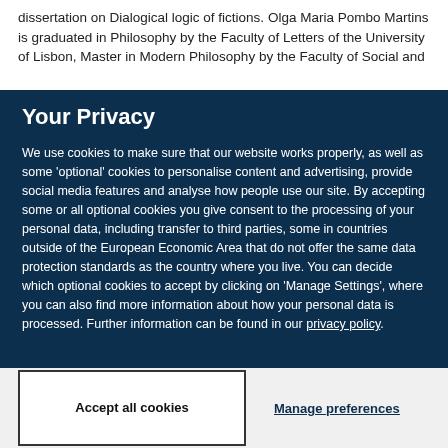dissertation on Dialogical logic of fictions. Olga Maria Pombo Martins is graduated in Philosophy by the Faculty of Letters of the University of Lisbon, Master in Modern Philosophy by the Faculty of Social and
Your Privacy
We use cookies to make sure that our website works properly, as well as some ‘optional’ cookies to personalise content and advertising, provide social media features and analyse how people use our site. By accepting some or all optional cookies you give consent to the processing of your personal data, including transfer to third parties, some in countries outside of the European Economic Area that do not offer the same data protection standards as the country where you live. You can decide which optional cookies to accept by clicking on ‘Manage Settings’, where you can also find more information about how your personal data is processed. Further information can be found in our privacy policy.
Accept all cookies
Manage preferences